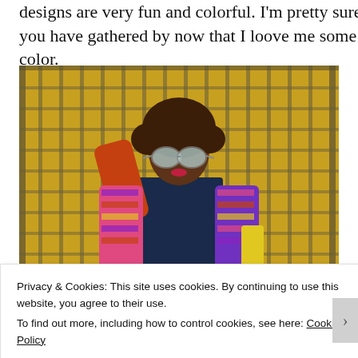designs are very fun and colorful. I'm pretty sure you have gathered by now that I loove me some color.
[Figure (photo): A woman wearing a colorful African print jacket and round sunglasses, posing against a yellow metal grate/fence background with graffiti.]
Privacy & Cookies: This site uses cookies. By continuing to use this website, you agree to their use.
To find out more, including how to control cookies, see here: Cookie Policy
Close and accept